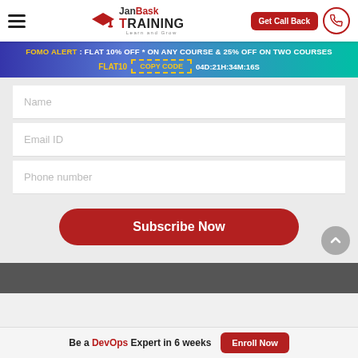JanBask Training — Learn and Grow | Get Call Back
FOMO ALERT : FLAT 10% OFF * ON ANY COURSE & 25% OFF ON TWO COURSES
FLAT10  COPY CODE  04D:21H:34M:16S
Name
Email ID
Phone number
Subscribe Now
Be a DevOps Expert in 6 weeks
Enroll Now